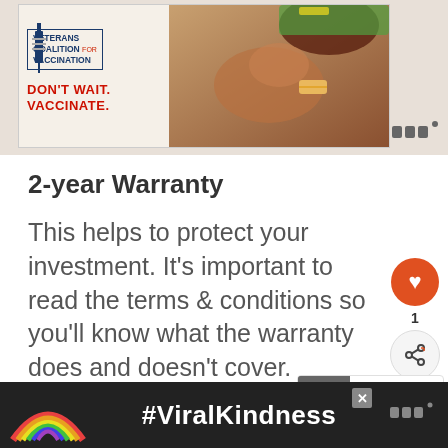[Figure (photo): Veterans Coalition for Vaccination advertisement showing a woman flexing her arm with a bandage, text reads DON'T WAIT. VACCINATE.]
2-year Warranty
This helps to protect your investment. It's important to read the terms & conditions so you'll know what the warranty does and doesn't cover.
Lightweight/Compact
[Figure (photo): Bottom advertisement banner with rainbow graphic and #ViralKindness text on dark background]